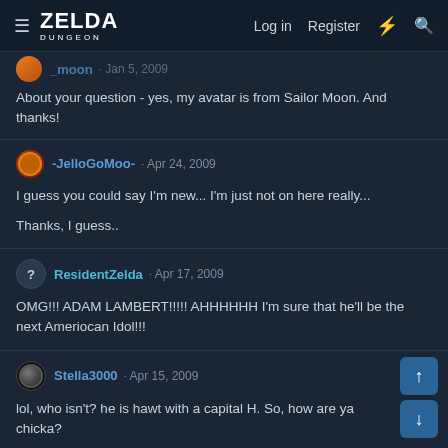ZELDA DUNGEON — Log in | Register
About your question - yes, my avatar is from Sailor Moon. And thanks!
-JelloGoMoo- · Apr 24, 2009
I guess you could say I'm new... I'm just not on here really...

Thanks, I guess..
ResidentZelda · Apr 17, 2009
OMG!!! ADAM LAMBERT!!!!! AHHHHHH I'm sure that he'll be the next Ameriocan Idol!!!
Stella3000 · Apr 15, 2009
lol, who isn't? he is hawt with a capital H. So, how are ya chicka?